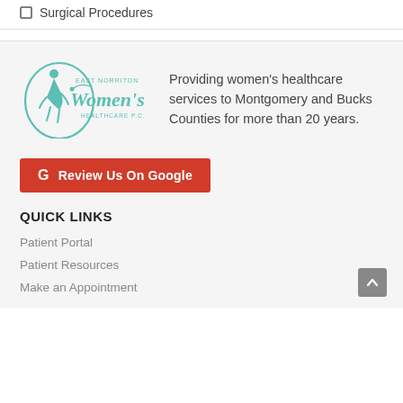Surgical Procedures
[Figure (logo): East Norriton Women's Healthcare P.C. logo in teal/mint color]
Providing women's healthcare services to Montgomery and Bucks Counties for more than 20 years.
G  Review Us On Google
QUICK LINKS
Patient Portal
Patient Resources
Make an Appointment